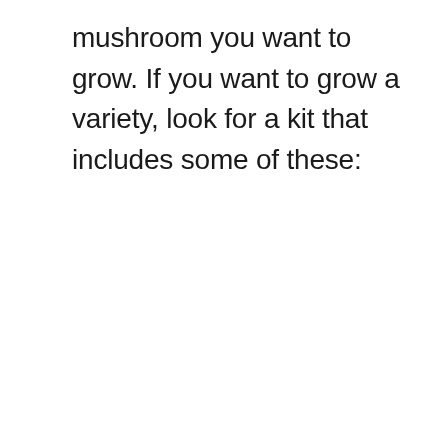mushroom you want to grow. If you want to grow a variety, look for a kit that includes some of these: